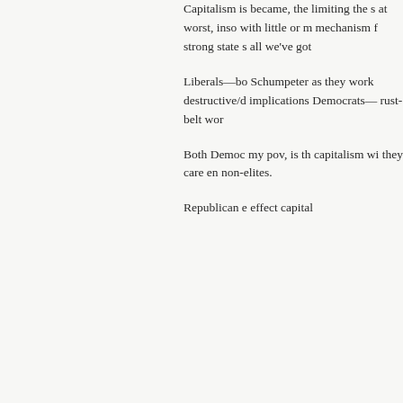Capitalism is became, the limiting the s at worst, inso with little or m mechanism f strong state s all we've got
Liberals—bo Schumpeter as they work destructive/d implications Democrats— rust-belt wor
Both Democ my pov, is th capitalism wi they care en non-elites.
Republican e effect capital